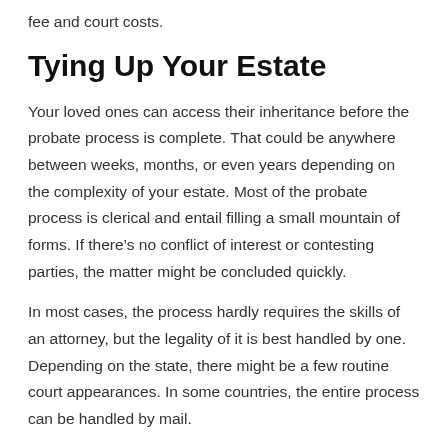fee and court costs.
Tying Up Your Estate
Your loved ones can access their inheritance before the probate process is complete. That could be anywhere between weeks, months, or even years depending on the complexity of your estate. Most of the probate process is clerical and entail filling a small mountain of forms. If there’s no conflict of interest or contesting parties, the matter might be concluded quickly.
In most cases, the process hardly requires the skills of an attorney, but the legality of it is best handled by one. Depending on the state, there might be a few routine court appearances. In some countries, the entire process can be handled by mail.
An Easy Way Out
[Figure (photo): Partial view of images at bottom of page, cropped]